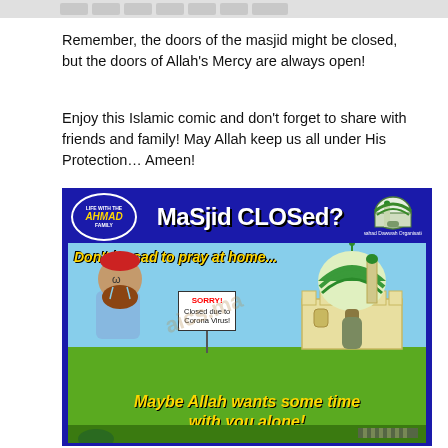[navigation bar with buttons]
Remember, the doors of the masjid might be closed, but the doors of Allah's Mercy are always open!
Enjoy this Islamic comic and don't forget to share with friends and family! May Allah keep us all under His Protection… Ameen!
[Figure (illustration): Islamic comic strip titled 'Masjid Closed?' from Life with the Ahmad Family / Maahad Dawwah Organisation. Top header shows title in bold. Middle panel shows a sad cartoon Muslim man with red kufi and orange beard, a sign reading 'SORRY! Closed due to Corona Virus!', and a cartoon mosque with dome and minaret on a blue sky with green ground. Text reads 'Don't be sad to pray at home...' in yellow. Bottom green band reads 'Maybe Allah wants some time with you alone!' in yellow italic. Bottom shows partial next panel with green character and prayer rug.]